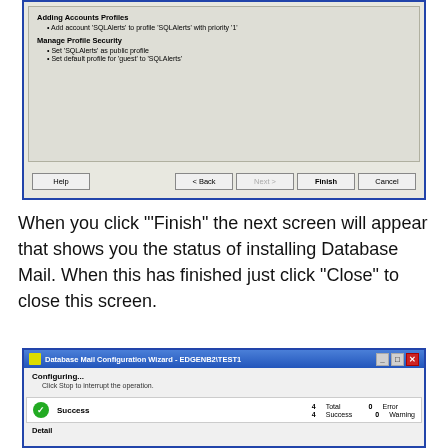[Figure (screenshot): SQL Server Database Mail Configuration Wizard dialog showing summary of actions: Adding Accounts Profiles and Manage Profile Security, with Help, Back, Next, Finish, Cancel buttons]
When you click "'Finish" the next screen will appear that shows you the status of installing Database Mail. When this has finished just click "Close" to close this screen.
[Figure (screenshot): Database Mail Configuration Wizard - EDGENB2\TEST1 dialog showing Configuring... status with Success indicator, 4 Total, 4 Success, 0 Error, 0 Warning]